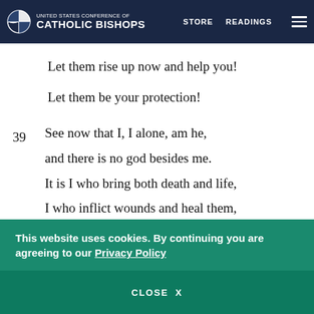UNITED STATES CONFERENCE OF CATHOLIC BISHOPS | STORE | READINGS
Let them rise up now and help you!
Let them be your protection!
39   See now that I, I alone, am he,
and there is no god besides me.
It is I who bring both death and life,
I who inflict wounds and heal them,
and from my hand no one can deliver.a
This website uses cookies. By continuing you are agreeing to our Privacy Policy
CLOSE  X